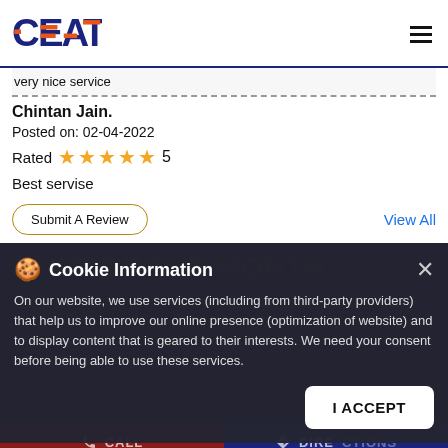[Figure (logo): CEAT logo in blue and orange on white header with hamburger menu icon on right]
very nice service
Chintan Jain.
Posted on: 02-04-2022
Rated ★★★★★ 5
Best servise
Submit A Review
View All
TYRE OF THE MONTH
Cookie Information
On our website, we use services (including from third-party providers) that help us to improve our online presence (optimization of website) and to display content that is geared to their interests. We need your consent before being able to use these services.
I ACCEPT
CALL
DIRECTIONS